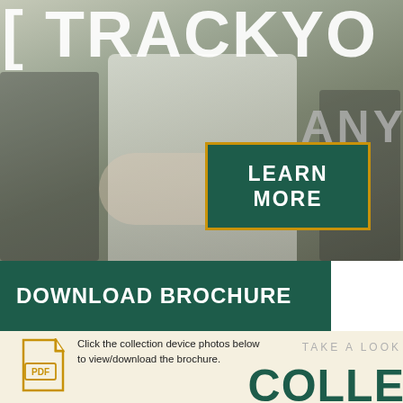[Figure (photo): Photo of construction workers in white t-shirts with crossed arms, outdoor setting. Large text overlay reading 'TRACKYOU' at top and 'ANY' on right side.]
LEARN MORE
DOWNLOAD BROCHURE
[Figure (infographic): Yellow PDF file icon]
Click the collection device photos below to view/download the brochure.
TAKE A LOOK
COLLE